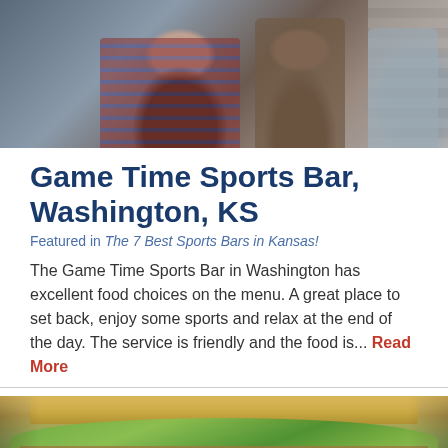[Figure (photo): People at a sports bar, two or three individuals visible, one in a plaid shirt]
Game Time Sports Bar, Washington, KS
Featured in The 7 Best Sports Bars in Kansas!
The Game Time Sports Bar in Washington has excellent food choices on the menu. A great place to set back, enjoy some sports and relax at the end of the day. The service is friendly and the food is... Read More
[Figure (photo): Close-up photo of a sandwich or food dish with green salad/lettuce and bread]